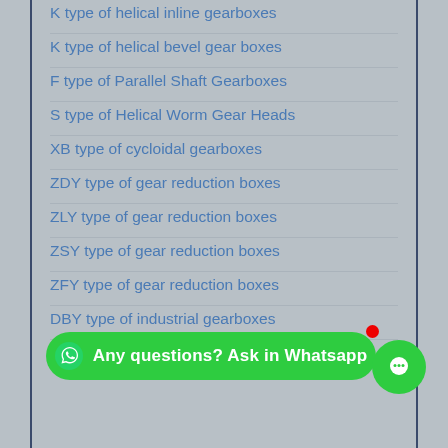K type of helical inline gearboxes
K type of helical bevel gear boxes
F type of Parallel Shaft Gearboxes
S type of Helical Worm Gear Heads
XB type of cycloidal gearboxes
ZDY type of gear reduction boxes
ZLY type of gear reduction boxes
ZSY type of gear reduction boxes
ZFY type of gear reduction boxes
DBY type of industrial gearboxes
B type of helical bevel gearboxes